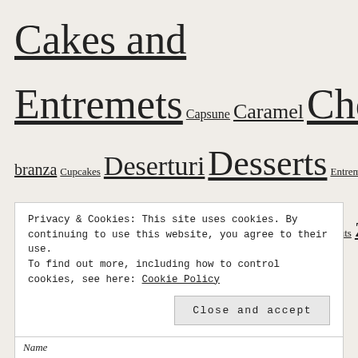Cakes and Entremets Capsune Caramel Chocolate Christmas Cinnamon Ciocolata Coconut Cofetar Cofetarie Cookies Cream cheese Crema de branza Cupcakes Deserturi Desserts Entremet Entremets French desserts Fructe Fruits Fursecuri Introduction to pastry Lamaie Lemon Migdale Mousse Muffins Nuca de cocos Pastry chef Prajituri Raspberry Scortisoara Sweet treats Tarte Tarts Torturi Vanilie Vanilla Walnuts Zmeura
Privacy & Cookies: This site uses cookies. By continuing to use this website, you agree to their use. To find out more, including how to control cookies, see here: Cookie Policy
Close and accept
Name